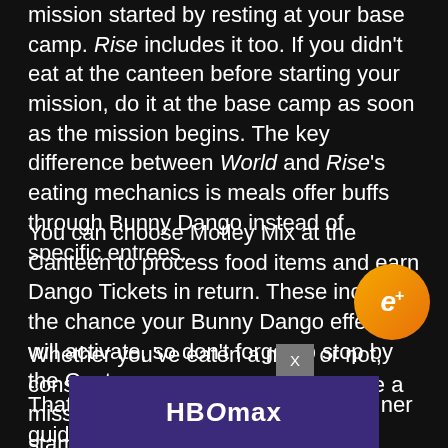mission started by resting at your base camp. Rise includes it too. If you didn't eat at the canteen before starting your mission, do it at the base camp as soon as the mission begins. The key difference between World and Rise's eating mechanics is meals offer buffs through Bunny Dango instead of specific entrees.
You can choose Motley Mix at the Canteen to process food items and earn Dango Tickets in return. These increase the chance your Bunny Dango effects will activate, so don't forget to stop by the Canteen.
Whether you've eaten a meal or not, consume some of your Rations once a mission starts to max out your stamina.
[Figure (logo): e+ logo: golden/orange circular badge with italic e+ text in white]
That's it for our beginner guide, but there are more guides where
[Figure (screenshot): HBO Max advertisement overlay with close X button and purple background]